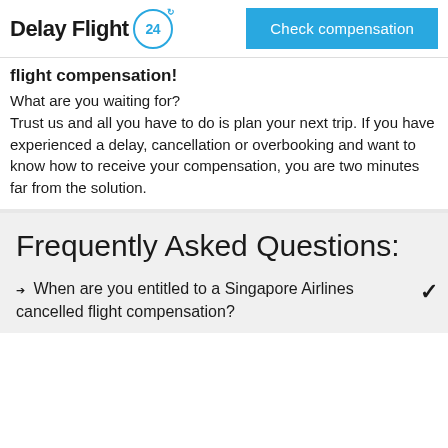[Figure (logo): Delay Flight 24 logo with circular badge containing '24' and a 'Check compensation' blue button]
flight compensation! What are you waiting for? Trust us and all you have to do is plan your next trip. If you have experienced a delay, cancellation or overbooking and want to know how to receive your compensation, you are two minutes far from the solution.
Frequently Asked Questions:
➔ When are you entitled to a Singapore Airlines cancelled flight compensation?